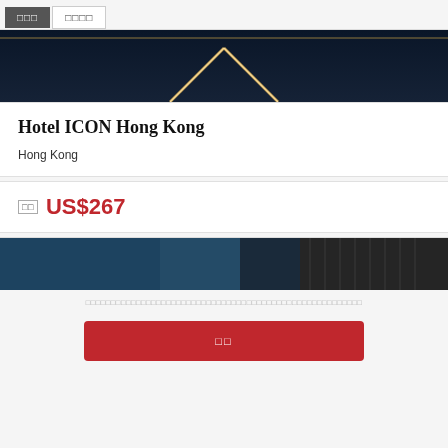□□□  □□□□
[Figure (photo): Dark hotel or venue hero image with V-shaped light reflection against dark blue background]
Hotel ICON Hong Kong
Hong Kong
□□ US$267
[Figure (photo): Dark interior hotel room image with teal/blue lighting and modern furnishings]
□□□□□□□□□□□□□□□□□□□□□□□□□□□□□□□□□□□□□□□□□□□□□□□
□□